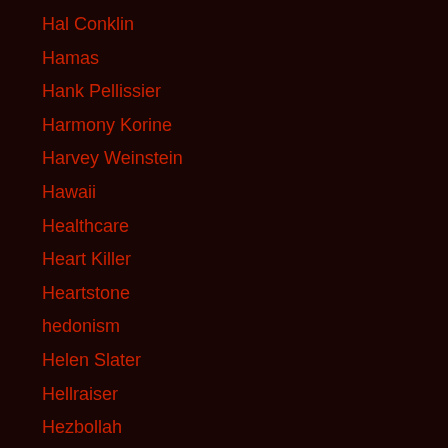Hal Conklin
Hamas
Hank Pellissier
Harmony Korine
Harvey Weinstein
Hawaii
Healthcare
Heart Killer
Heartstone
hedonism
Helen Slater
Hellraiser
Hezbollah
Hieronymus Bosch
High School